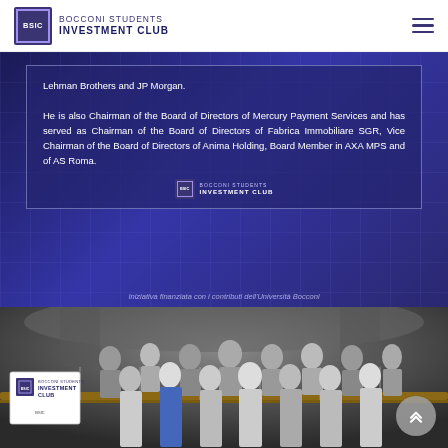BSIC BOCCONI STUDENTS INVESTMENT CLUB
Lehman Brothers and JP Morgan.

He is also Chairman of the Board of Directors of Mercury Payment Services and has served as Chairman of the Board of Directors of Fabrica Immobiliare SGR, Vice Chairman of the Board of Directors of Anima Holding, Board Member in AXA MPS and of AS Roma.
Iniziativa finanziata con i contributi dell'Università Bocconi
[Figure (photo): Group photo of Bocconi Students Investment Club members standing on a staircase/balcony, holding a BSIC banner]